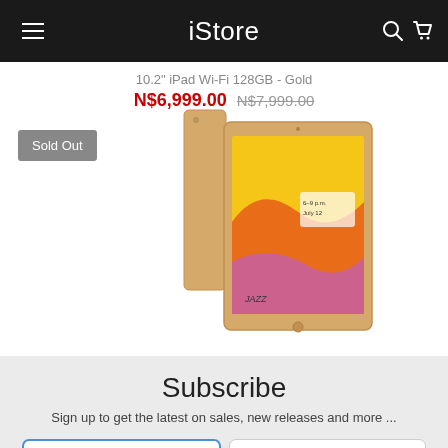iStore
10.2" iPad Wi-Fi 128GB - Gold
N$6,999.00 N$7,999.00
Sold Out
[Figure (photo): Gold iPad 10.2 inch product photo showing front and back of the device]
Subscribe
Sign up to get the latest on sales, new releases and more ...
First Name | Last Name
Email* | Sign Up